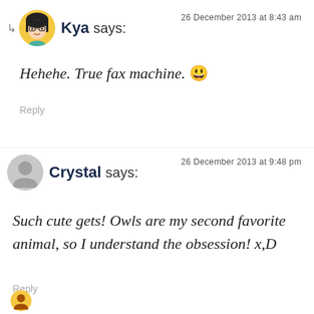↳ Kya says: 26 December 2013 at 8:43 am
Hehehe. True fax machine. 😀
Reply
Crystal says: 26 December 2013 at 9:48 pm
Such cute gets! Owls are my second favorite animal, so I understand the obsession! x,D
Reply